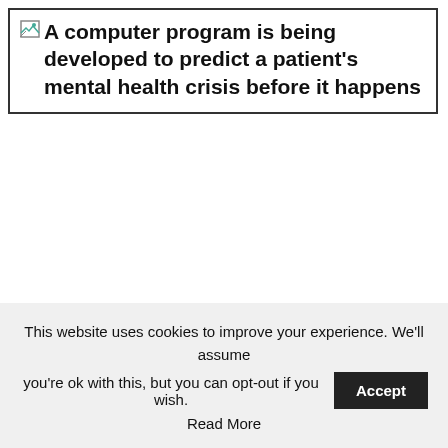[Figure (other): Broken image placeholder with alt text: A computer program is being developed to predict a patient's mental health crisis before it happens]
This website uses cookies to improve your experience. We'll assume you're ok with this, but you can opt-out if you wish. Accept Read More